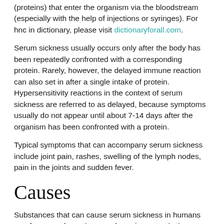(proteins) that enter the organism via the bloodstream (especially with the help of injections or syringes). For hnc in dictionary, please visit dictionaryforall.com.
Serum sickness usually occurs only after the body has been repeatedly confronted with a corresponding protein. Rarely, however, the delayed immune reaction can also set in after a single intake of protein. Hypersensitivity reactions in the context of serum sickness are referred to as delayed, because symptoms usually do not appear until about 7-14 days after the organism has been confronted with a protein.
Typical symptoms that can accompany serum sickness include joint pain, rashes, swelling of the lymph nodes, pain in the joints and sudden fever.
Causes
Substances that can cause serum sickness in humans are, for example, antisera and vaccine sera. Anti-serum and vaccine sera as a possible cause of serum sickness are processed antibodies (proteins produced by the immune system.) that are obtained